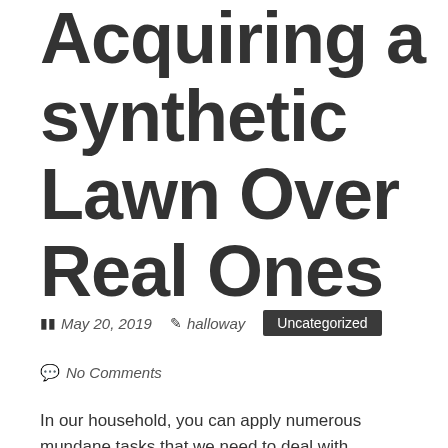Acquiring a synthetic Lawn Over Real Ones
May 20, 2019   halloway   Uncategorized
No Comments
In our household, you can apply numerous mundane tasks that we need to deal with frequently. Some of